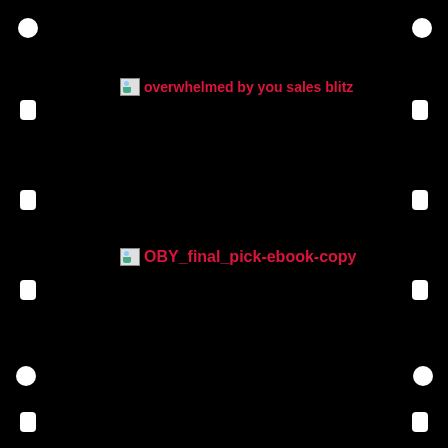[Figure (other): Black film strip background with white circular holes along edges, two broken image placeholders with alt text labels in crimson]
overwhelmed by you sales blitz
OBY_final_pick-ebook-copy